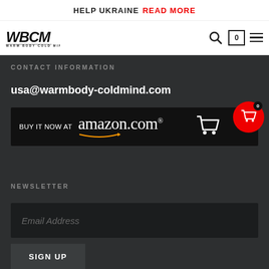HELP UKRAINE   READ MORE
[Figure (logo): Warm Body Cold Mind logo with stylized WBCM letters and tagline]
CONTACT INFORMATION
usa@warmbody-coldmind.com
[Figure (illustration): Amazon.com Buy It Now banner with shopping cart icon]
NEWSLETTER
Email Address
SIGN UP